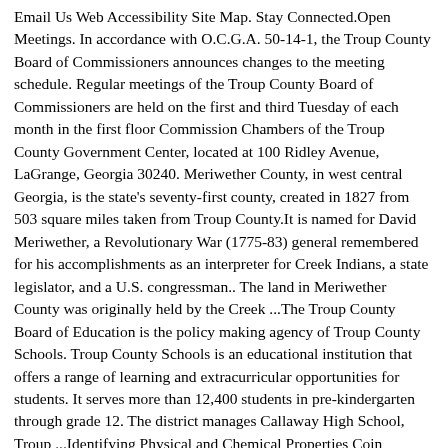Email Us Web Accessibility Site Map. Stay Connected.Open Meetings. In accordance with O.C.G.A. 50-14-1, the Troup County Board of Commissioners announces changes to the meeting schedule. Regular meetings of the Troup County Board of Commissioners are held on the first and third Tuesday of each month in the first floor Commission Chambers of the Troup County Government Center, located at 100 Ridley Avenue, LaGrange, Georgia 30240. Meriwether County, in west central Georgia, is the state's seventy-first county, created in 1827 from 503 square miles taken from Troup County.It is named for David Meriwether, a Revolutionary War (1775-83) general remembered for his accomplishments as an interpreter for Creek Indians, a state legislator, and a U.S. congressman.. The land in Meriwether County was originally held by the Creek ...The Troup County Board of Education is the policy making agency of Troup County Schools. Troup County Schools is an educational institution that offers a range of learning and extracurricular opportunities for students. It serves more than 12,400 students in pre-kindergarten through grade 12. The district manages Callaway High School, Troup ...Identifying Physical and Chemical Properties Coin Collector. 2-1 Three States of Matter. 2-2 Behavior of Gases. 2-3 Changes of State. Chapter 2 Notes. Matter Sorter Game. States of Matter Games. Phet Lab: States of Matter. See a listing of Public schools in Troup County, GA. See school trends, attendance boundaries, rankings, test scores and more. Grade 7 Mathematics achieved M34 N47007b Grade 54 on 51.55 1007...